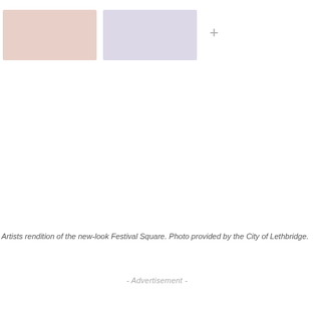[Figure (photo): Two photo placeholders side by side with a plus sign, representing an artist's rendition of the new-look Festival Square]
Artists rendition of the new-look Festival Square. Photo provided by the City of Lethbridge.
- Advertisement -